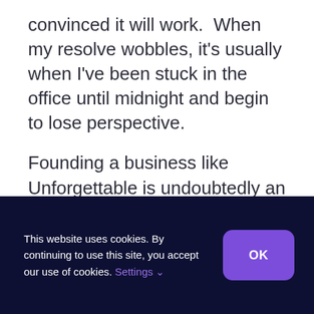convinced it will work.  When my resolve wobbles, it's usually when I've been stuck in the office until midnight and begin to lose perspective.

Founding a business like Unforgettable is undoubtedly an emotional experience, it is, in essence, a business that is part of who I am.  My daily challenge is to learn how to manage
This website uses cookies. By continuing to use this site, you accept our use of cookies. Settings ✓